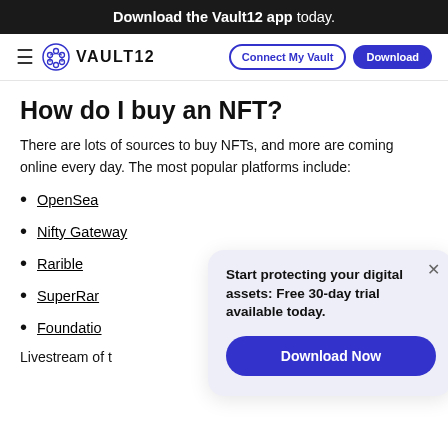Download the Vault12 app today.
VAULT12 | Connect My Vault | Download
How do I buy an NFT?
There are lots of sources to buy NFTs, and more are coming online every day. The most popular platforms include:
OpenSea
Nifty Gateway
Rarible
SuperRare
Foundation
Livestream of t
[Figure (other): Popup modal with text: Start protecting your digital assets: Free 30-day trial available today. With a Download Now button.]